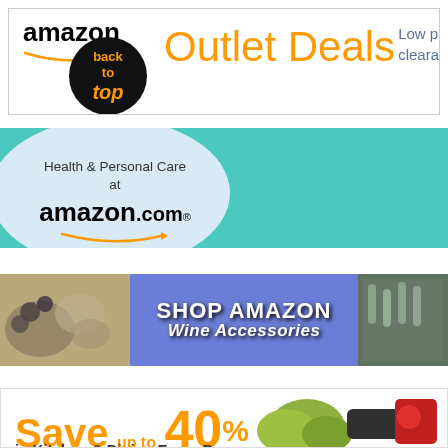[Figure (screenshot): Amazon Outlet Deals banner with Amazon logo, 'back to top' black circle button, 'Outlet Deals' in orange text, and 'Low p[rices on] cleara[nce]' in blue text]
[Figure (screenshot): Health & Personal Care at amazon.com banner with light blue oval on teal/turquoise background]
[Figure (screenshot): Shop Amazon Wine Accessories banner with wine/cookware images on sides and purple center with white bold italic text]
[Figure (screenshot): Save up to 40% in Kitchen & Dining Every Day banner with orange text and cookware product images on right]